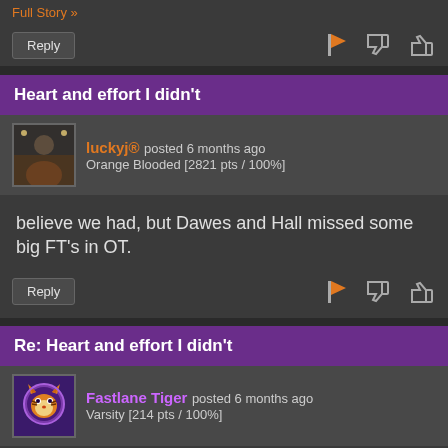Full Story »
Reply [button] [flag] [dislike] [like]
Heart and effort I didn't
luckyj® posted 6 months ago
Orange Blooded [2821 pts / 100%]
believe we had, but Dawes and Hall missed some big FT's in OT.
Reply [button] [flag] [dislike] [like]
Re: Heart and effort I didn't
Fastlane Tiger posted 6 months ago
Varsity [214 pts / 100%]
Absolutely can not miss those free throws. SMH